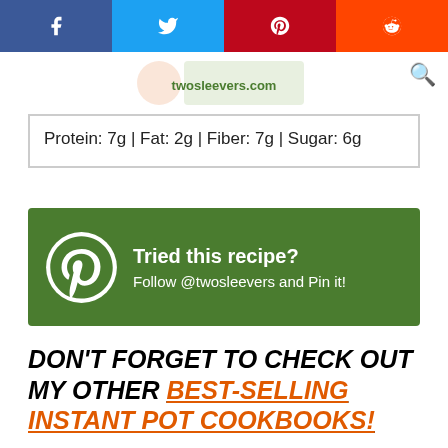[Figure (other): Social share bar with Facebook, Twitter, Pinterest, and Reddit buttons]
[Figure (other): Website logo/header image partially visible]
Protein: 7g | Fat: 2g | Fiber: 7g | Sugar: 6g
[Figure (other): Green Pinterest promotional banner: Tried this recipe? Follow @twosleevers and Pin it!]
DON'T FORGET TO CHECK OUT MY OTHER BEST-SELLING INSTANT POT COOKBOOKS!